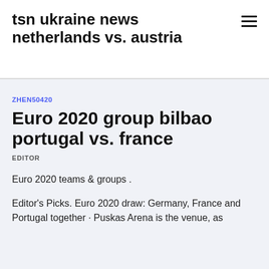tsn ukraine news netherlands vs. austria
ZHEN50420
Euro 2020 group bilbao portugal vs. france
EDITOR
Euro 2020 teams & groups .
Editor's Picks. Euro 2020 draw: Germany, France and Portugal together · Puskas Arena is the venue, as